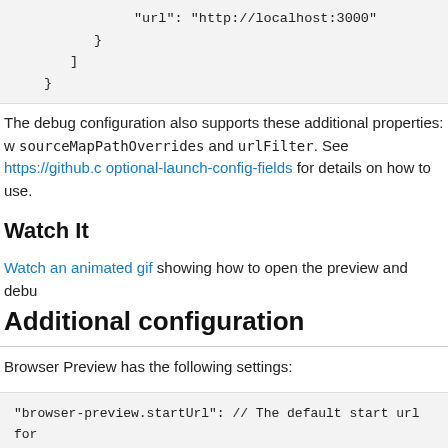"url": "http://localhost:3000"
    }
  ]
}
The debug configuration also supports these additional properties: w sourceMapPathOverrides and urlFilter. See https://github.c optional-launch-config-fields for details on how to use.
Watch It
Watch an animated gif showing how to open the preview and debu
Additional configuration
Browser Preview has the following settings:
"browser-preview.startUrl": // The default start url for
"browser-preview.verbose": false // Enable verbose loggi
"browser-preview.chromeExecutable": // The full path to